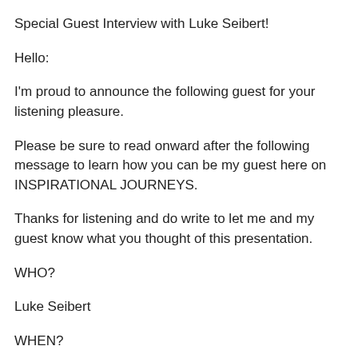Special Guest Interview with Luke Seibert!
Hello:
I'm proud to announce the following guest for your listening pleasure.
Please be sure to read onward after the following message to learn how you can be my guest here on INSPIRATIONAL JOURNEYS.
Thanks for listening and do write to let me and my guest know what you thought of this presentation.
WHO?
Luke Seibert
WHEN?